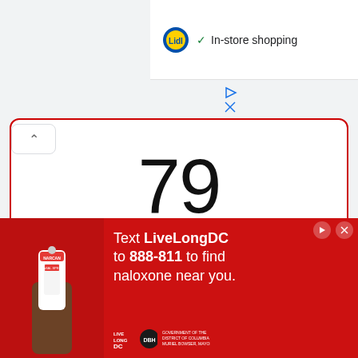[Figure (screenshot): Lidl logo with 'In-store shopping' text and checkmark in a white panel]
In-store shopping
79
Days until
GPSC Class 1 & 2 Exam: 13-11-2022
72
[Figure (photo): Red advertisement banner: Text LiveLongDC to 888-811 to find naloxone near you. Shows a nasal spray being held. Live Long DC DBH District of Columbia Muriel Bowser, Mayor logos.]